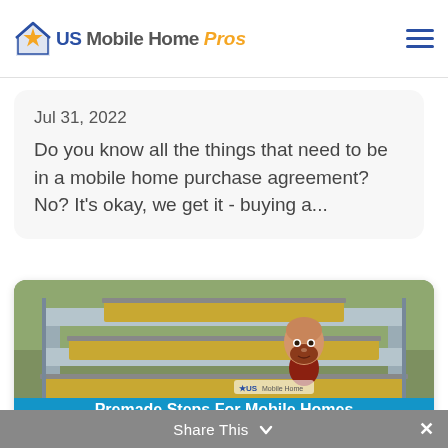US Mobile Home Pros
Jul 31, 2022
Do you know all the things that need to be in a mobile home purchase agreement? No? It's okay, we get it - buying a...
[Figure (photo): Premade wooden steps/stairs for a mobile home with a cartoon mascot character sitting on one of the steps. Blue banner overlay reads: Premade Steps For Mobile Homes - know your options before you buy -]
Share This